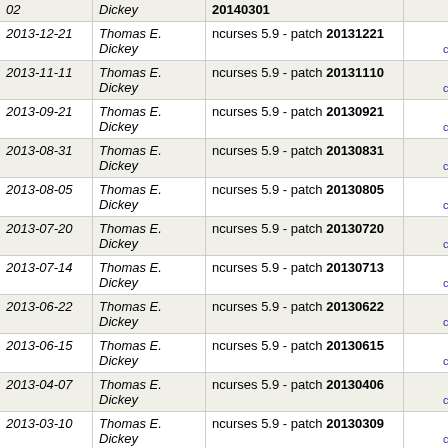| Date | Author | Description | Links |
| --- | --- | --- | --- |
| 02 | Dickey | ncurses 5.9 - patch 20140301 | tree | commitdiff |
| 2013-12-21 | Thomas E. Dickey | ncurses 5.9 - patch 20131221 | tree | commitdiff |
| 2013-11-11 | Thomas E. Dickey | ncurses 5.9 - patch 20131110 | tree | commitdiff |
| 2013-09-21 | Thomas E. Dickey | ncurses 5.9 - patch 20130921 | tree | commitdiff |
| 2013-08-31 | Thomas E. Dickey | ncurses 5.9 - patch 20130831 | tree | commitdiff |
| 2013-08-05 | Thomas E. Dickey | ncurses 5.9 - patch 20130805 | tree | commitdiff |
| 2013-07-20 | Thomas E. Dickey | ncurses 5.9 - patch 20130720 | tree | commitdiff |
| 2013-07-14 | Thomas E. Dickey | ncurses 5.9 - patch 20130713 | tree | commitdiff |
| 2013-06-22 | Thomas E. Dickey | ncurses 5.9 - patch 20130622 | tree | commitdiff |
| 2013-06-15 | Thomas E. Dickey | ncurses 5.9 - patch 20130615 | tree | commitdiff |
| 2013-04-07 | Thomas E. Dickey | ncurses 5.9 - patch 20130406 | tree | commitdiff |
| 2013-03-10 | Thomas E. Dickey | ncurses 5.9 - patch 20130309 | tree | commitdiff |
| 2013-03-03 | Thomas E. Dickey | ncurses 5.9 - patch 20130302 | tree | commitdiff |
| 2013-02-03 | Thomas E. Dickey | ncurses 5.9 - patch 20130202 | tree | commitdiff |